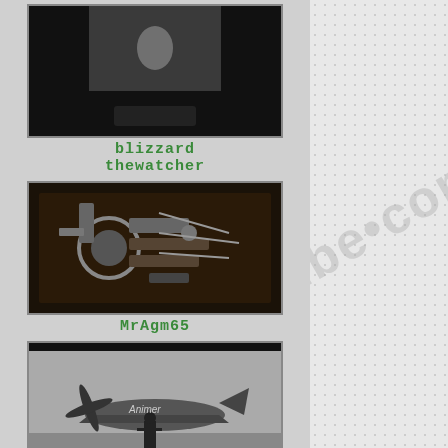[Figure (screenshot): Thumbnail image with black background, partial image visible at top]
blizzard thewatcher
[Figure (photo): Engine machinery photo thumbnail with dark background]
MrAgm65
[Figure (photo): Black and white photo of WWII propeller aircraft with person standing beside it]
AIRBOID
[Figure (screenshot): Gray placeholder thumbnail with three dots icon]
Moriko909
LINKS
en.wikipedia
fr.wikipedia
bonhams.com